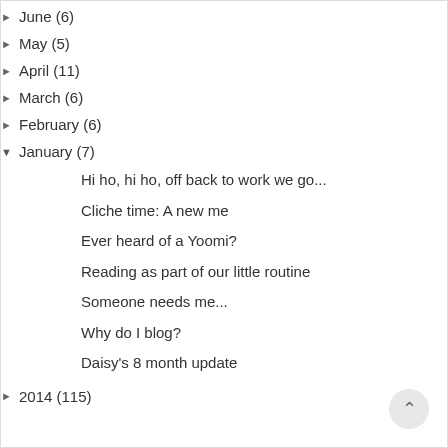► June (6)
► May (5)
► April (11)
► March (6)
► February (6)
▼ January (7)
Hi ho, hi ho, off back to work we go...
Cliche time: A new me
Ever heard of a Yoomi?
Reading as part of our little routine
Someone needs me...
Why do I blog?
Daisy's 8 month update
► 2014 (115)